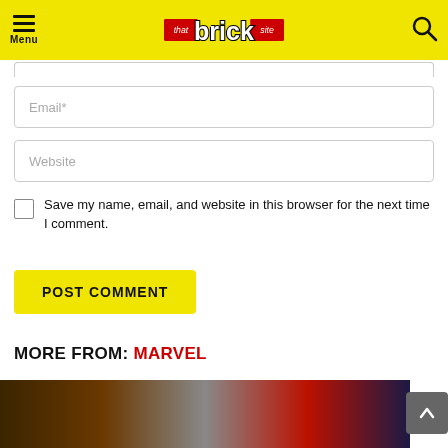[Figure (logo): That Brick Site logo on yellow header bar with menu icon and search icon]
Email*
Website
Save my name, email, and website in this browser for the next time I comment.
POST COMMENT
MORE FROM: MARVEL
[Figure (photo): Partial bottom image showing LEGO or toy figures, partially cut off]